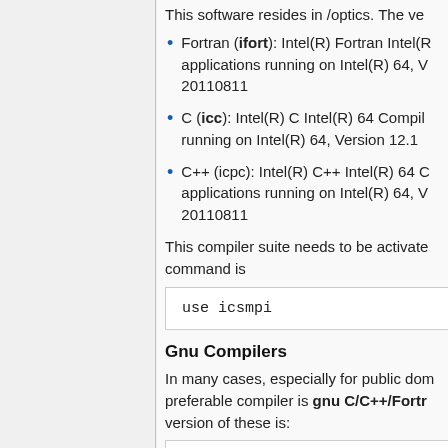This software resides in /optics. The ve...
Fortran (ifort): Intel(R) Fortran Intel(R)... applications running on Intel(R) 64, V... 20110811
C (icc): Intel(R) C Intel(R) 64 Compil... running on Intel(R) 64, Version 12.1
C++ (icpc): Intel(R) C++ Intel(R) 64 C... applications running on Intel(R) 64, V... 20110811
This compiler suite needs to be activated... command is
use icsmpi
Gnu Compilers
In many cases, especially for public dom... preferable compiler is gnu C/C++/Fortra... version of these is: